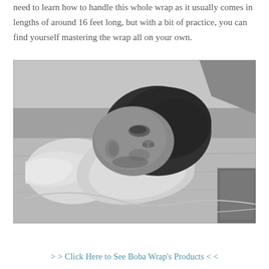need to learn how to handle this whole wrap as it usually comes in lengths of around 16 feet long, but with a bit of practice, you can find yourself mastering the wrap all on your own.
[Figure (photo): Black and white photograph of a newborn baby swaddled in a white wrap, lying on a surface, looking upward.]
> > Click Here to See Boba Wrap's Products < <